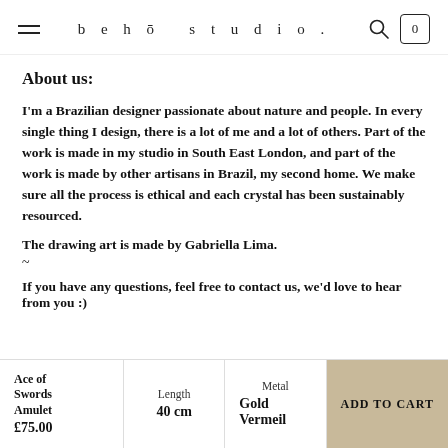behō studio.
About us:
I'm a Brazilian designer passionate about nature and people. In every single thing I design, there is a lot of me and a lot of others. Part of the work is made in my studio in South East London, and part of the work is made by other artisans in Brazil, my second home. We make sure all the process is ethical and each crystal has been sustainably resourced.
The drawing art is made by Gabriella Lima.
~
If you have any questions, feel free to contact us, we'd love to hear from you :)
Ace of Swords Amulet £75.00 | Length 40 cm | Metal Gold Vermeil | ADD TO CART